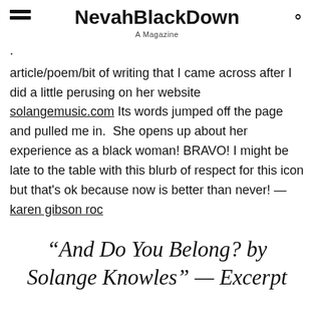NevahBlackDown — A Magazine
article/poem/bit of writing that I came across after I did a little perusing on her website solangemusic.com Its words jumped off the page and pulled me in.  She opens up about her experience as a black woman! BRAVO! I might be late to the table with this blurb of respect for this icon but that's ok because now is better than never! — karen gibson roc
“And Do You Belong? by Solange Knowles” — Excerpt